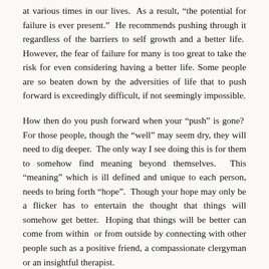at various times in our lives.  As a result, “the potential for failure is ever present.”  He recommends pushing through it regardless of the barriers to self growth and a better life.  However, the fear of failure for many is too great to take the risk for even considering having a better life. Some people are so beaten down by the adversities of life that to push forward is exceedingly difficult, if not seemingly impossible.
How then do you push forward when your “push” is gone?  For those people, though the “well” may seem dry, they will need to dig deeper.  The only way I see doing this is for them to somehow find meaning beyond themselves.  This “meaning” which is ill defined and unique to each person, needs to bring forth “hope”.  Though your hope may only be a flicker has to entertain the thought that things will somehow get better.  Hoping that things will be better can come from within  or from outside by connecting with other people such as a positive friend, a compassionate clergyman or an insightful therapist.
This hopefully will give you just enough energy to take a small step forward which can lead to the next and the next. It is only by daring to risk by taking that first step, no matter how small or hesitantly, can you begin to learn what is truly possible in